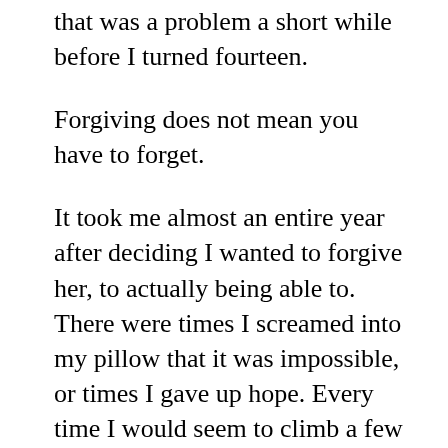that was a problem a short while before I turned fourteen.
Forgiving does not mean you have to forget.
It took me almost an entire year after deciding I wanted to forgive her, to actually being able to. There were times I screamed into my pillow that it was impossible, or times I gave up hope. Every time I would seem to climb a few steps up the mountain, I would fall again.
But my youth pastor, Mr. Smith, said this in